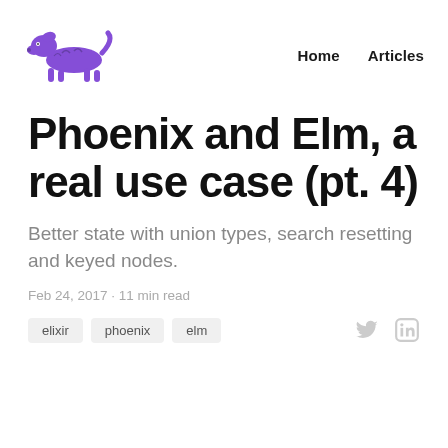[Figure (logo): Purple hand-drawn style dachshund dog logo]
Home   Articles
Phoenix and Elm, a real use case (pt. 4)
Better state with union types, search resetting and keyed nodes.
Feb 24, 2017 · 11 min read
elixir
phoenix
elm